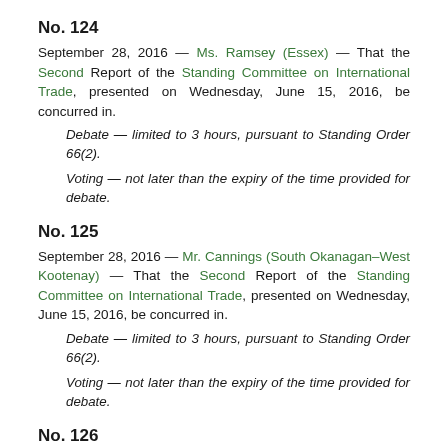No. 124
September 28, 2016 — Ms. Ramsey (Essex) — That the Second Report of the Standing Committee on International Trade, presented on Wednesday, June 15, 2016, be concurred in.
Debate — limited to 3 hours, pursuant to Standing Order 66(2).
Voting — not later than the expiry of the time provided for debate.
No. 125
September 28, 2016 — Mr. Cannings (South Okanagan–West Kootenay) — That the Second Report of the Standing Committee on International Trade, presented on Wednesday, June 15, 2016, be concurred in.
Debate — limited to 3 hours, pursuant to Standing Order 66(2).
Voting — not later than the expiry of the time provided for debate.
No. 126
September 28, 2016 — Mr. Julian (New Westminster–Burnaby) — That the Second Report of the Standing Committee on International Trade, presented on Wednesday, June 15, 2016, be concurred in.
Debate — limited to 3 hours, pursuant to Standing Order 66(2).